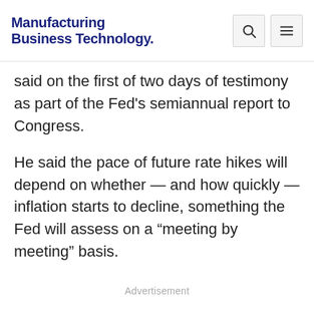Manufacturing Business Technology
said on the first of two days of testimony as part of the Fed's semiannual report to Congress.
He said the pace of future rate hikes will depend on whether — and how quickly — inflation starts to decline, something the Fed will assess on a “meeting by meeting” basis.
Advertisement